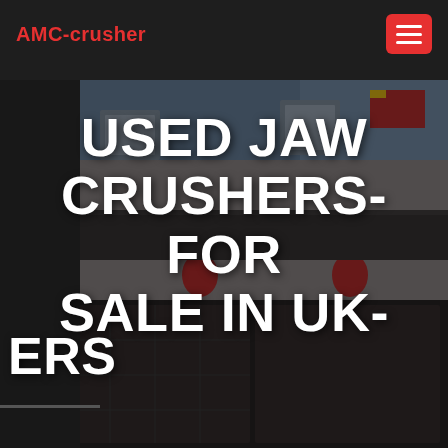AMC-crusher
[Figure (photo): Industrial building facade with Chinese signage reading CMCC Meilan Industrial Group, red lanterns, Chinese flag visible on right, dark storefront below]
USED JAW CRUSHERS- FOR SALE IN UK-
ERS